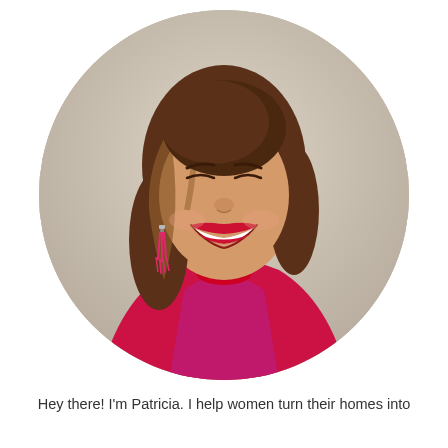[Figure (photo): Circular portrait photo of a smiling woman with shoulder-length brown hair, wearing a red/magenta sleeveless dress with a mock neck, and pink tassel earrings. She is laughing broadly with red lipstick. The background is a light neutral/beige tone.]
Hey there! I'm Patricia. I help women turn their homes into